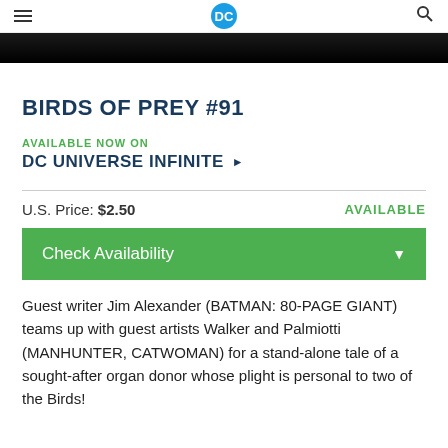DC Comics header with hamburger menu, DC logo, and search icon
BIRDS OF PREY #91
AVAILABLE NOW ON
DC UNIVERSE INFINITE ▶
U.S. Price: $2.50    AVAILABLE
Check Availability
Guest writer Jim Alexander (BATMAN: 80-PAGE GIANT) teams up with guest artists Walker and Palmiotti (MANHUNTER, CATWOMAN) for a stand-alone tale of a sought-after organ donor whose plight is personal to two of the Birds!